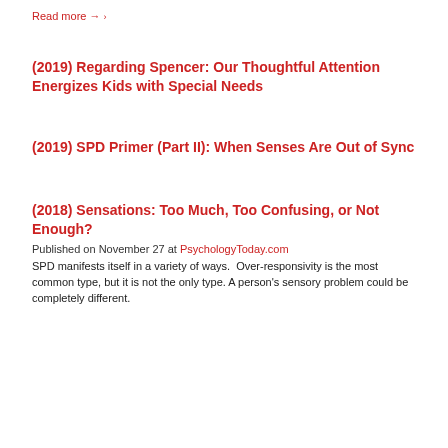Read more →
(2019) Regarding Spencer: Our Thoughtful Attention Energizes Kids with Special Needs
(2019) SPD Primer (Part II): When Senses Are Out of Sync
(2018) Sensations: Too Much, Too Confusing, or Not Enough?
Published on November 27 at PsychologyToday.com
SPD manifests itself in a variety of ways.  Over-responsivity is the most common type, but it is not the only type. A person's sensory problem could be completely different.